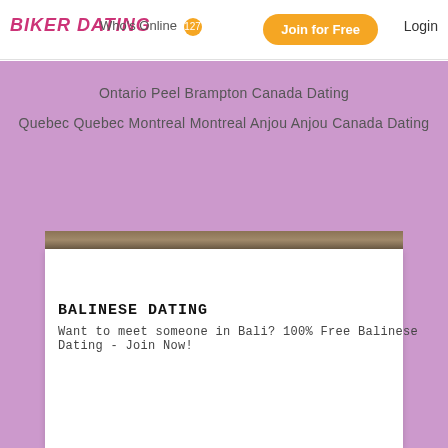BIKER DATING - Who's Online 127 - Join for Free - Login
Ontario Peel Brampton Canada Dating
Quebec Quebec Montreal Montreal Anjou Anjou Canada Dating
[Figure (photo): A dark brownish-gold horizontal image strip, resembling a worn leather or wood texture.]
BALINESE DATING
Want to meet someone in Bali? 100% Free Balinese Dating - Join Now!